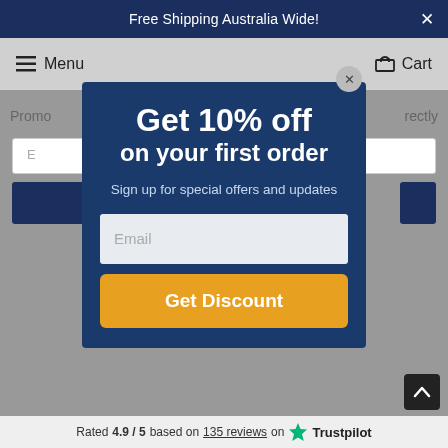Free Shipping Australia Wide!
Menu
Cart
Promo
rectly
Get 10% off on your first order
Sign up for special offers and updates
Email
Get Discount
Rated 4.9 / 5 based on 135 reviews on Trustpilot